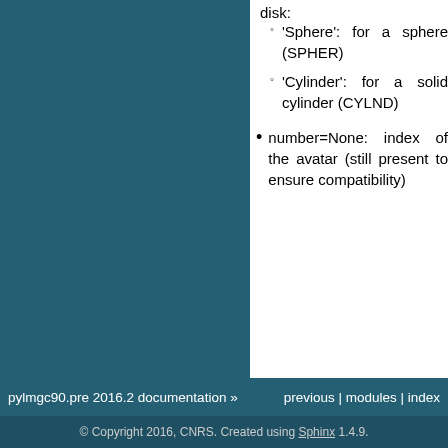disk:
'Sphere': for a sphere (SPHER)
'Cylinder': for a solid cylinder (CYLND)
number=None: index of the avatar (still present to ensure compatibility)
pylmgc90.pre 2016.2 documentation »   previous | modules | index
© Copyright 2016, CNRS. Created using Sphinx 1.4.9.